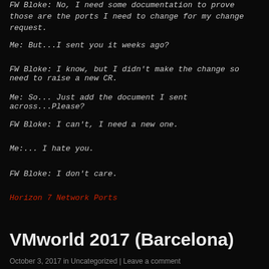FW Bloke: No, I need some documentation to prove those are the ports I need to change for my change request.
Me: But...I sent you it weeks ago?
FW Bloke: I know, but I didn't make the change so need to raise a new CR.
Me: So... Just add the document I sent across...Please?
FW Bloke: I can't, I need a new one.
Me:... I hate you.
FW Bloke: I don't care.
Horizon 7 Network Ports
VMworld 2017 (Barcelona)
October 3, 2017 in Uncategorized | Leave a comment